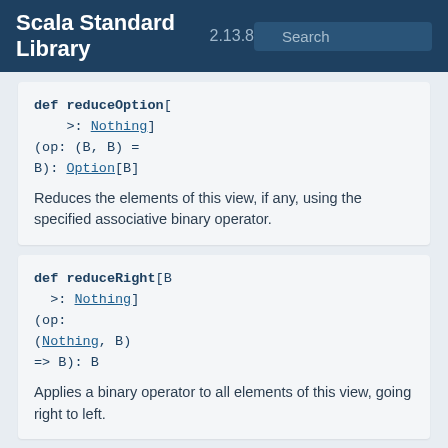Scala Standard Library 2.13.8
def reduceOption[B >: Nothing](op: (B, B) = B): Option[B]
Reduces the elements of this view, if any, using the specified associative binary operator.
def reduceRight[B >: Nothing](op: (Nothing, B) => B): B
Applies a binary operator to all elements of this view, going right to left.
def reduceRightOp